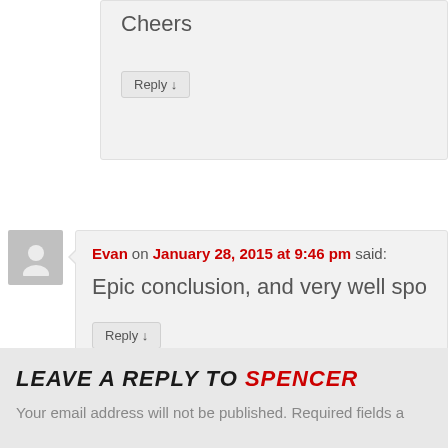Cheers
Reply ↓
Evan on January 28, 2015 at 9:46 pm said:
Epic conclusion, and very well spo…
Reply ↓
Leave a Reply to Spencer
Your email address will not be published. Required fields a…